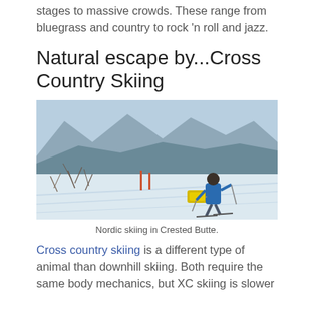stages to massive crowds. These range from bluegrass and country to rock 'n roll and jazz.
Natural escape by...Cross Country Skiing
[Figure (photo): A person cross-country skiing on a groomed trail pulling a yellow sled, with snowy mountains and bare bushes in the background. Nordic skiing in Crested Butte.]
Nordic skiing in Crested Butte.
Cross country skiing is a different type of animal than downhill skiing. Both require the same body mechanics, but XC skiing is slower